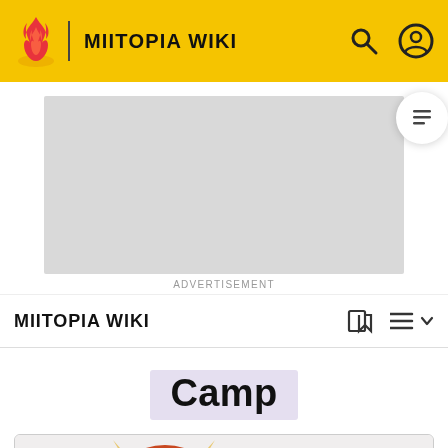MIITOPIA WIKI
[Figure (screenshot): Advertisement placeholder box (grey rectangle)]
ADVERTISEMENT
MIITOPIA WIKI
Camp
[Figure (illustration): Game characters: a monster/boss character and a tent from Miitopia, shown inside a bordered box]